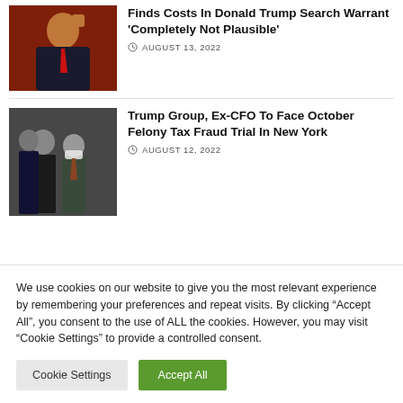[Figure (photo): Photo of Donald Trump raising his fist at a rally event]
Finds Costs In Donald Trump Search Warrant 'Completely Not Plausible'
AUGUST 13, 2022
[Figure (photo): Photo of men in suits including a man wearing a white medical mask walking with police escort in New York]
Trump Group, Ex-CFO To Face October Felony Tax Fraud Trial In New York
AUGUST 12, 2022
We use cookies on our website to give you the most relevant experience by remembering your preferences and repeat visits. By clicking “Accept All”, you consent to the use of ALL the cookies. However, you may visit “Cookie Settings” to provide a controlled consent.